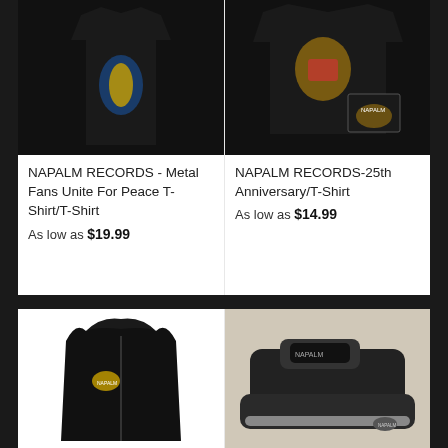[Figure (photo): Black t-shirt with blue and yellow dragon/crest graphic (NAPALM RECORDS - Metal Fans Unite For Peace)]
[Figure (photo): Black t-shirt with gold eagle crest and NAPALM RECORDS label (25th Anniversary T-Shirt)]
NAPALM RECORDS - Metal Fans Unite For Peace T-Shirt/T-Shirt
As low as $19.99
NAPALM RECORDS-25th Anniversary/T-Shirt
As low as $14.99
[Figure (photo): Black zip-up hoodie with NAPALM RECORDS logo on chest]
[Figure (photo): Black NAPALM RECORDS branded roller/hole-punch accessory on light background]